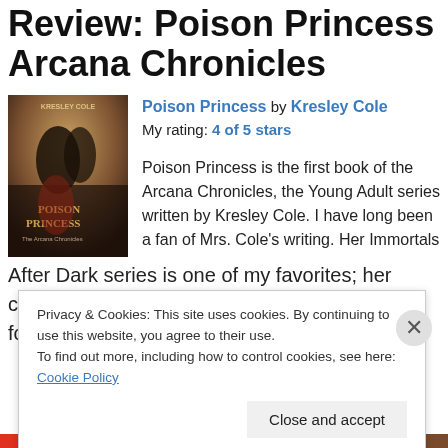Review: Poison Princess Arcana Chronicles
Poison Princess by Kresley Cole
My rating: 4 of 5 stars
[Figure (photo): Book cover of Poison Princess by Kresley Cole showing a young woman in a red dress and a man against a dramatic sky background]
Poison Princess is the first book of the Arcana Chronicles, the Young Adult series written by Kresley Cole. I have long been a fan of Mrs. Cole's writing. Her Immortals After Dark series is one of my favorites; her characters are such fun to learn about and follow. This book has certainly
Privacy & Cookies: This site uses cookies. By continuing to use this website, you agree to their use.
To find out more, including how to control cookies, see here: Cookie Policy
Close and accept